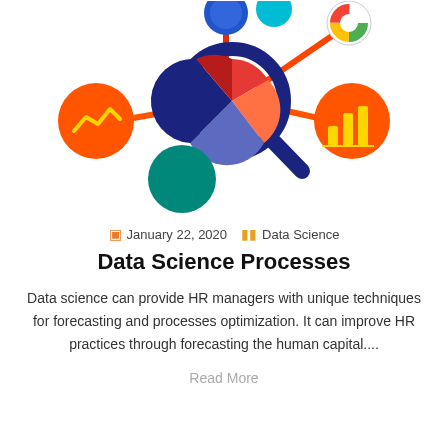[Figure (illustration): Colorful data science infographic illustration featuring a magnifying glass over a pie chart, connected to orange circles with line chart and bar chart icons, a teal circle, a blue circle, and a teal/green circle, connected by orange and red lines on a white background.]
January 22, 2020   Data Science
Data Science Processes
Data science can provide HR managers with unique techniques for forecasting and processes optimization. It can improve HR practices through forecasting the human capital....
Read More